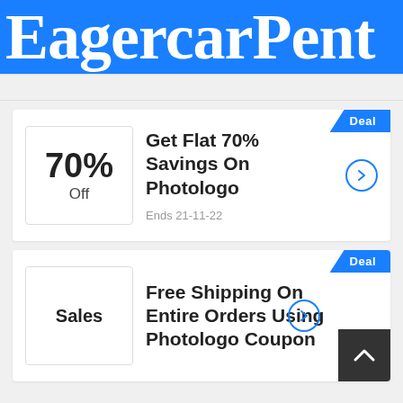EagercarPent
[Figure (other): Deal card: 70% Off discount box with title 'Get Flat 70% Savings On Photologo', expires 21-11-22]
Get Flat 70% Savings On Photologo
Ends 21-11-22
[Figure (other): Deal card: Sales label with title 'Free Shipping On Entire Orders Using Photologo Coupon']
Free Shipping On Entire Orders Using Photologo Coupon